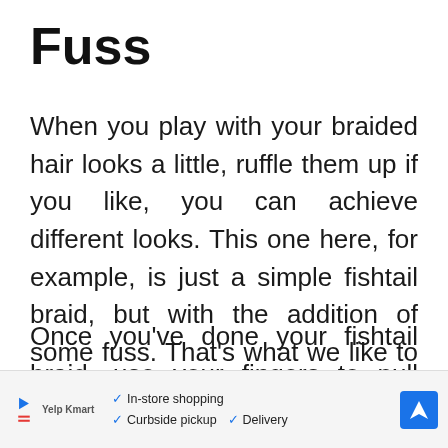Fuss
When you play with your braided hair looks a little, ruffle them up if you like, you can achieve different looks. This one here, for example, is just a simple fishtail braid, but with the addition of some fuss. That's what we like to call it.
Once you've done your fishtail braid, use your fingers to pull some strands
[Figure (infographic): Advertisement banner showing store options: In-store shopping, Curbside pickup, Delivery with navigation icon]